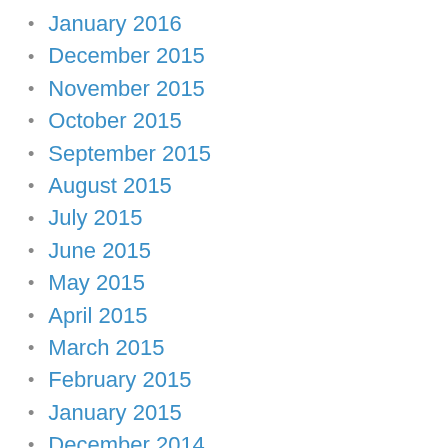January 2016
December 2015
November 2015
October 2015
September 2015
August 2015
July 2015
June 2015
May 2015
April 2015
March 2015
February 2015
January 2015
December 2014
November 2014
October 2014
September 2014
August 2014